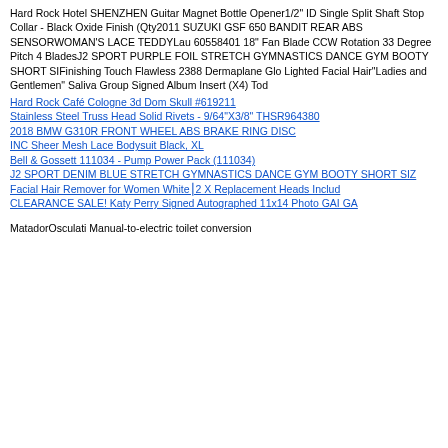Hard Rock Hotel SHENZHEN Guitar Magnet Bottle Opener1/2" ID Single Split Shaft Stop Collar - Black Oxide Finish (Qty2011 SUZUKI GSF 650 BANDIT REAR ABS SENSORWOMAN'S LACE TEDDYLau 60558401 18" Fan Blade CCW Rotation 33 Degree Pitch 4 BladesJ2 SPORT PURPLE FOIL STRETCH GYMNASTICS DANCE GYM BOOTY SHORT SIFinishing Touch Flawless 2388 Dermaplane Glo Lighted Facial Hair"Ladies and Gentlemen" Saliva Group Signed Album Insert (X4) Tod
Hard Rock Café Cologne 3d Dom Skull #619211
Stainless Steel Truss Head Solid Rivets - 9/64"X3/8" THSR964380
2018 BMW G310R FRONT WHEEL ABS BRAKE RING DISC
INC Sheer Mesh Lace Bodysuit Black, XL
Bell & Gossett 111034 - Pump Power Pack (111034)
J2 SPORT DENIM BLUE STRETCH GYMNASTICS DANCE GYM BOOTY SHORT SIZ
Facial Hair Remover for Women White⎮2 X Replacement Heads Includ
CLEARANCE SALE! Katy Perry Signed Autographed 11x14 Photo GAI GA
MatadorOsculati Manual-to-electric toilet conversion